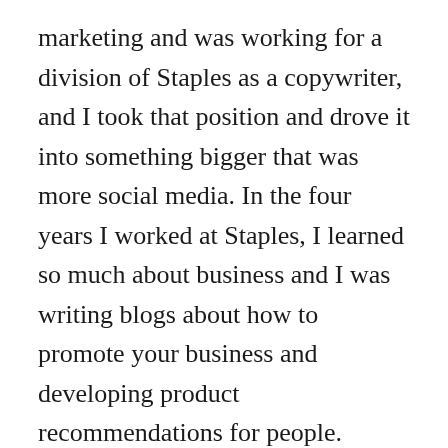marketing and was working for a division of Staples as a copywriter, and I took that position and drove it into something bigger that was more social media. In the four years I worked at Staples, I learned so much about business and I was writing blogs about how to promote your business and developing product recommendations for people.
All of this stuff just percolated I think. I was still blogging at the time, mostly about being a dog mom and